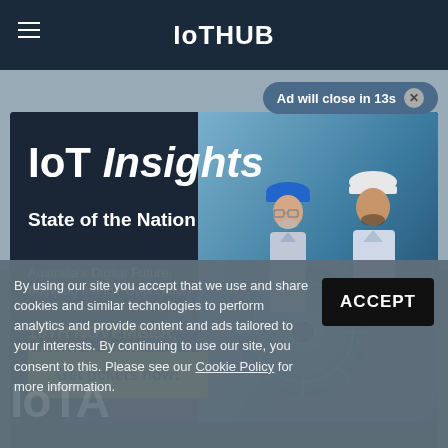[Figure (screenshot): IoTHUB website with navigation bar showing hamburger menu icon and IoTHUB logo on dark background, with dimmed background page content]
Ad will close in 13s ⊗
[Figure (photo): Advertisement popup for IoT Insights State of the Nation event. Shows two men in hard hats (blue and white) with industrial turbine/gear background. Text reads: IoT Insights State of the Nation, Australia's Digital Future, Mapping the IoT Opportunity, 16TH NOVEMBER, SYDNEY CBD, Get tickets now!]
By using our site you accept that we use and share cookies and similar technologies to perform analytics and provide content and ads tailored to your interests. By continuing to use our site, you consent to this. Please see our Cookie Policy for more information.
ACCEPT